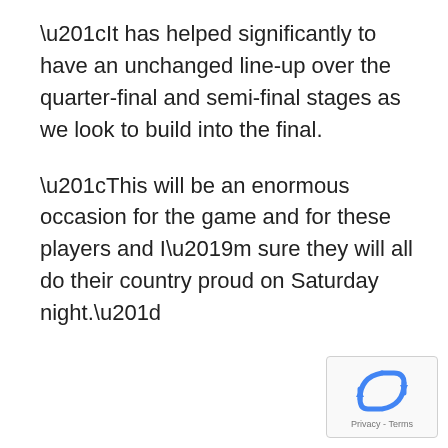“It has helped significantly to have an unchanged line-up over the quarter-final and semi-final stages as we look to build into the final.
“This will be an enormous occasion for the game and for these players and I’m sure they will all do their country proud on Saturday night.”
[Figure (logo): Google reCAPTCHA badge with recycling-arrow icon and Privacy - Terms links]